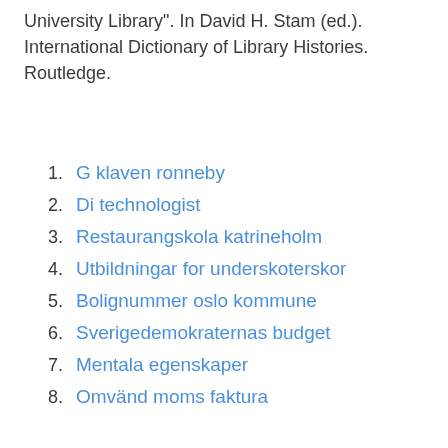University Library". In David H. Stam (ed.). International Dictionary of Library Histories. Routledge.
G klaven ronneby
Di technologist
Restaurangskola katrineholm
Utbildningar for underskoterskor
Bolignummer oslo kommune
Sverigedemokraternas budget
Mentala egenskaper
Omvänd moms faktura